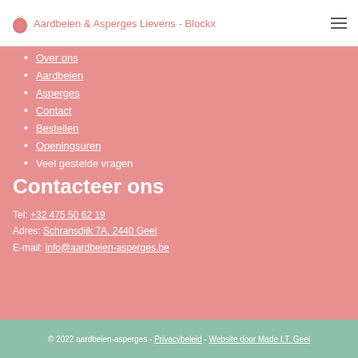Aardbeien & Asperges Lievens - Blockx
Over ons
Aardbeien
Asperges
Contact
Bestellen
Openingsuren
Veel gestelde vragen
Contacteer ons
Tel: +32 475 50 62 19
Adres: Schransdijk 7A, 2440 Geel
E-mail: info@aardbeien-asperges.be
© 2022 aardbeien-asperges - Privacybeleid - Website door Made I.T. Geel